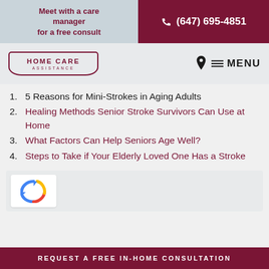Meet with a care manager for a free consult
(647) 695-4851
[Figure (logo): Home Care Assistance logo in dark red with decorative border]
MENU
5 Reasons for Mini-Strokes in Aging Adults
Healing Methods Senior Stroke Survivors Can Use at Home
What Factors Can Help Seniors Age Well?
Steps to Take if Your Elderly Loved One Has a Stroke
REQUEST A FREE IN-HOME CONSULTATION